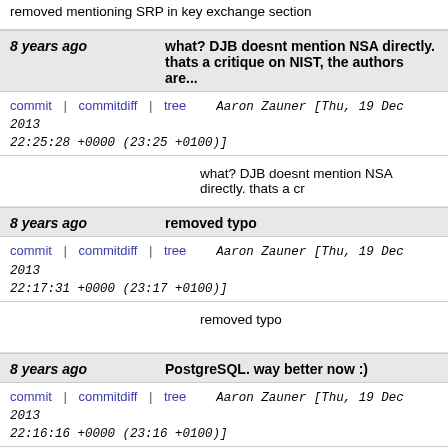removed mentioning SRP in key exchange section
8 years ago   what? DJB doesnt mention NSA directly. thats a critique on NIST, the authors are...
commit | commitdiff | tree   Aaron Zauner [Thu, 19 Dec 2013 22:25:28 +0000 (23:25 +0100)]
what? DJB doesnt mention NSA directly. thats a cr
8 years ago   removed typo
commit | commitdiff | tree   Aaron Zauner [Thu, 19 Dec 2013 22:17:31 +0000 (23:17 +0100)]
removed typo
8 years ago   PostgreSQL. way better now :)
commit | commitdiff | tree   Aaron Zauner [Thu, 19 Dec 2013 22:16:16 +0000 (23:16 +0100)]
PostgreSQL. way better now :)
8 years ago   rephrase, get rid of typos
commit | commitdiff | tree   Aaron Zauner [Wed, 18 Dec 2013 08:50:14 +0000 (09:50 +0100)]